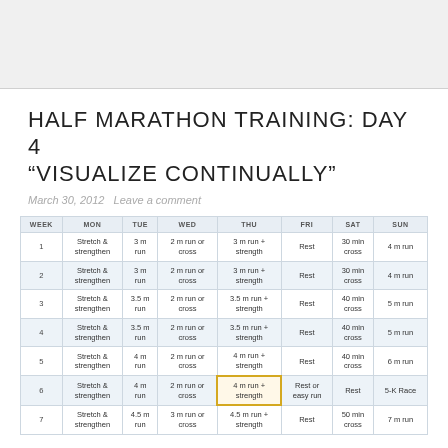[Figure (other): White/gray header image area]
HALF MARATHON TRAINING: DAY 4 “VISUALIZE CONTINUALLY”
March 30, 2012   Leave a comment
| WEEK | MON | TUE | WED | THU | FRI | SAT | SUN |
| --- | --- | --- | --- | --- | --- | --- | --- |
| 1 | Stretch &
strengthen | 3 m
run | 2 m run or
cross | 3 m run +
strength | Rest | 30 min
cross | 4 m run |
| 2 | Stretch &
strengthen | 3 m
run | 2 m run or
cross | 3 m run +
strength | Rest | 30 min
cross | 4 m run |
| 3 | Stretch &
strengthen | 3.5 m
run | 2 m run or
cross | 3.5 m run +
strength | Rest | 40 min
cross | 5 m run |
| 4 | Stretch &
strengthen | 3.5 m
run | 2 m run or
cross | 3.5 m run +
strength | Rest | 40 min
cross | 5 m run |
| 5 | Stretch &
strengthen | 4 m
run | 2 m run or
cross | 4 m run +
strength | Rest | 40 min
cross | 6 m run |
| 6 | Stretch &
strengthen | 4 m
run | 2 m run or
cross | 4 m run +
strength [highlighted] | Rest or
easy run | Rest | 5-K Race |
| 7 | Stretch &
strengthen | 4.5 m
run | 3 m run or
cross | 4.5 m run +
strength | Rest | 50 min
cross | 7 m run |